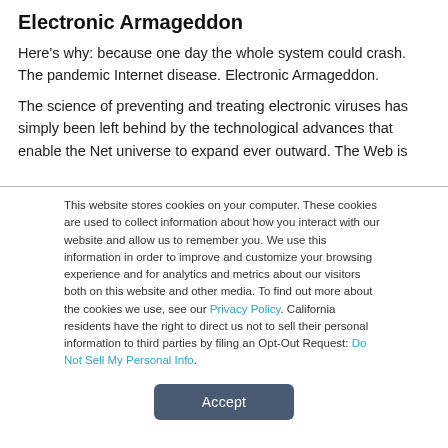Electronic Armageddon
Here's why: because one day the whole system could crash. The pandemic Internet disease. Electronic Armageddon.
The science of preventing and treating electronic viruses has simply been left behind by the technological advances that enable the Net universe to expand ever outward. The Web is
This website stores cookies on your computer. These cookies are used to collect information about how you interact with our website and allow us to remember you. We use this information in order to improve and customize your browsing experience and for analytics and metrics about our visitors both on this website and other media. To find out more about the cookies we use, see our Privacy Policy. California residents have the right to direct us not to sell their personal information to third parties by filing an Opt-Out Request: Do Not Sell My Personal Info.
Accept